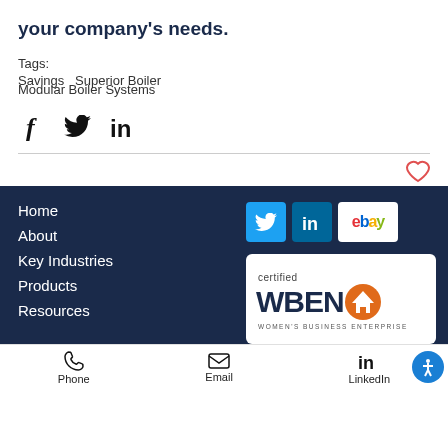your company's needs.
Tags:
Savings   Superior Boiler
Modular Boiler Systems
[Figure (other): Social share icons: Facebook (f), Twitter bird, LinkedIn (in)]
[Figure (other): Heart/like icon (outline heart in salmon/red color)]
[Figure (other): Footer navigation section with dark navy background containing: Home, About, Key Industries, Products, Resources links on the left; Twitter, LinkedIn, eBay social icons and WBENC Women's Business Enterprise certification logo on the right]
Phone   Email   LinkedIn